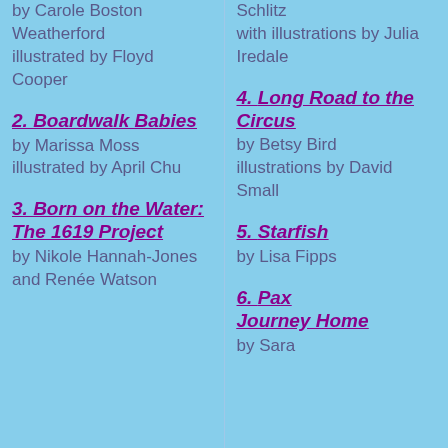by Carole Boston Weatherford illustrated by Floyd Cooper
2. Boardwalk Babies by Marissa Moss illustrated by April Chu
3. Born on the Water: The 1619 Project by Nikole Hannah-Jones and Renée Watson
Schlitz with illustrations by Julia Iredale
4. Long Road to the Circus by Betsy Bird illustrations by David Small
5. Starfish by Lisa Fipps
6. Pax Journey Home by Sara